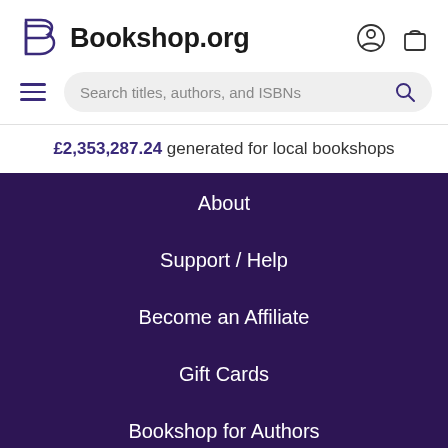Bookshop.org
£2,353,287.24 generated for local bookshops
About
Support / Help
Become an Affiliate
Gift Cards
Bookshop for Authors
Contact
Terms of Use